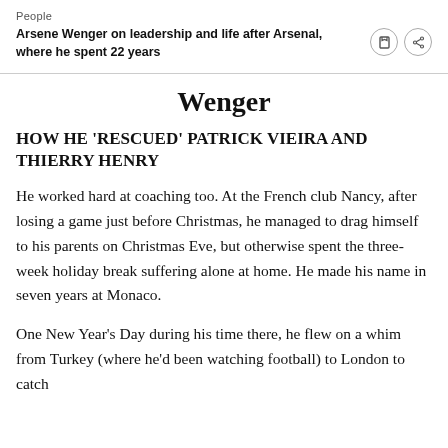People
Arsene Wenger on leadership and life after Arsenal, where he spent 22 years
Wenger
HOW HE ‘RESCUED’ PATRICK VIEIRA AND THIERRY HENRY
He worked hard at coaching too. At the French club Nancy, after losing a game just before Christmas, he managed to drag himself to his parents on Christmas Eve, but otherwise spent the three-week holiday break suffering alone at home. He made his name in seven years at Monaco.
One New Year’s Day during his time there, he flew on a whim from Turkey (where he’d been watching football) to London to catch